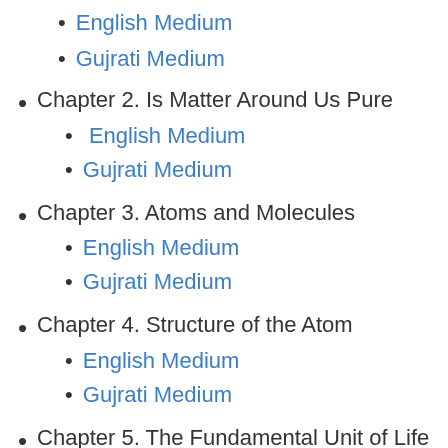English Medium
Gujrati Medium
Chapter 2. Is Matter Around Us Pure
English Medium
Gujrati Medium
Chapter 3. Atoms and Molecules
English Medium
Gujrati Medium
Chapter 4. Structure of the Atom
English Medium
Gujrati Medium
Chapter 5. The Fundamental Unit of Life
English Medium